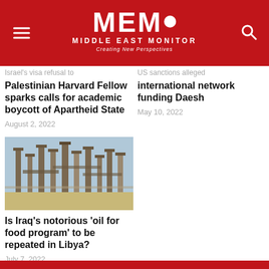MEMO MIDDLE EAST MONITOR — Creating New Perspectives
Israel's visa refusal to Palestinian Harvard Fellow sparks calls for academic boycott of Apartheid State
August 2, 2022
US sanctions alleged international network funding Daesh
May 10, 2022
[Figure (photo): Industrial oil refinery or facility with multiple tall metal columns/chimneys against a blue sky, sandy ground visible in foreground]
Is Iraq's notorious 'oil for food program' to be repeated in Libya?
July 7, 2022